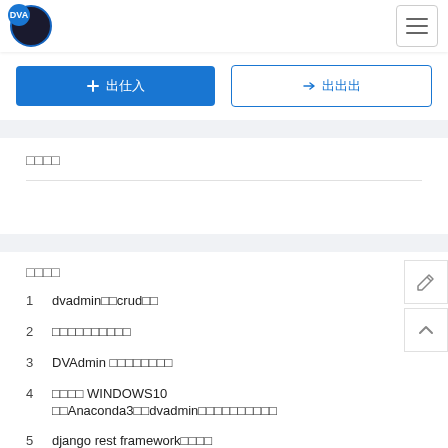[Figure (logo): DVA logo - circular badge with blue accent]
[Figure (other): Hamburger menu button]
[Figure (other): Two buttons row: filled blue button and outlined blue button with Japanese text]
□□□□
□□□□
1  dvadmin□□crud□□
2  □□□□□□□□□□
3  DVAdmin □□□□□□□□
4  □□□□ WINDOWS10 □□Anaconda3□□dvadmin□□□□□□□□□□
5  django rest framework□□□□
6  □□NAS□Docker□□□Django Vue Admin pro□□□□